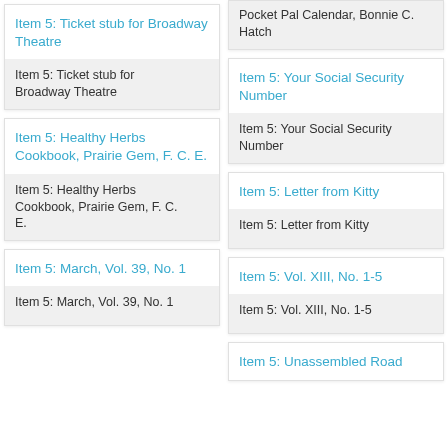Item 5: Ticket stub for Broadway Theatre
Item 5: Ticket stub for Broadway Theatre
Item 5: Healthy Herbs Cookbook, Prairie Gem, F. C. E.
Item 5: Healthy Herbs Cookbook, Prairie Gem, F. C. E.
Item 5: March, Vol. 39, No. 1
Item 5: March, Vol. 39, No. 1
Pocket Pal Calendar, Bonnie C. Hatch
Item 5: Your Social Security Number
Item 5: Your Social Security Number
Item 5: Letter from Kitty
Item 5: Letter from Kitty
Item 5: Vol. XIII, No. 1-5
Item 5: Vol. XIII, No. 1-5
Item 5: Unassembled Road